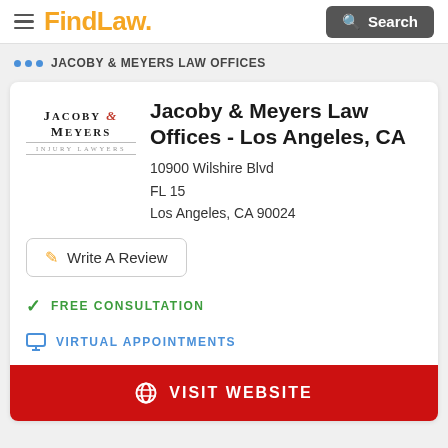FindLaw
JACOBY & MEYERS LAW OFFICES
Jacoby & Meyers Law Offices - Los Angeles, CA
10900 Wilshire Blvd
FL 15
Los Angeles, CA 90024
Write A Review
FREE CONSULTATION
VIRTUAL APPOINTMENTS
VISIT WEBSITE